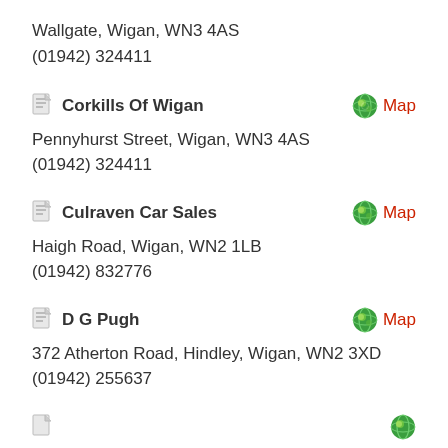Wallgate, Wigan, WN3 4AS
(01942) 324411
Corkills Of Wigan
Pennyhurst Street, Wigan, WN3 4AS
(01942) 324411
Culraven Car Sales
Haigh Road, Wigan, WN2 1LB
(01942) 832776
D G Pugh
372 Atherton Road, Hindley, Wigan, WN2 3XD
(01942) 255637